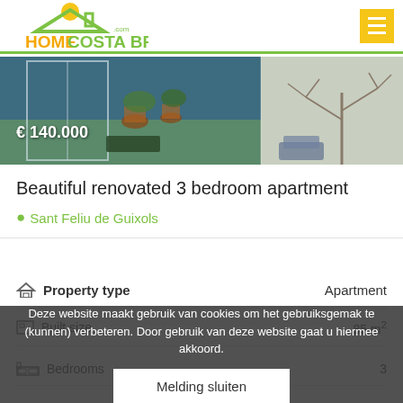HOME COSTA BRAVA .com
[Figure (photo): Balcony/terrace photo of apartment with plants and street view; price overlay showing € 140.000]
Beautiful renovated 3 bedroom apartment
Sant Feliu de Guixols
Property type   Apartment
Built size   85 m²
Bedrooms   3
Deze website maakt gebruik van cookies om het gebruiksgemak te (kunnen) verbeteren. Door gebruik van deze website gaat u hiermee akkoord.
Melding sluiten